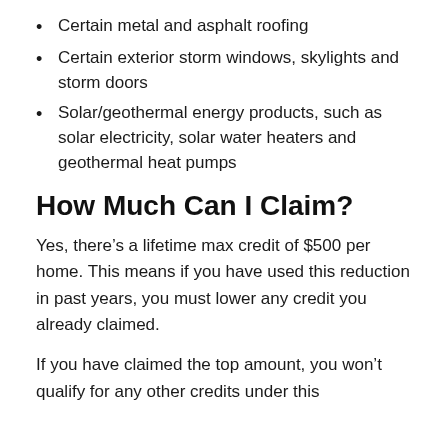Certain metal and asphalt roofing
Certain exterior storm windows, skylights and storm doors
Solar/geothermal energy products, such as solar electricity, solar water heaters and geothermal heat pumps
How Much Can I Claim?
Yes, there's a lifetime max credit of $500 per home. This means if you have used this reduction in past years, you must lower any credit you already claimed.
If you have claimed the top amount, you won't qualify for any other credits under this